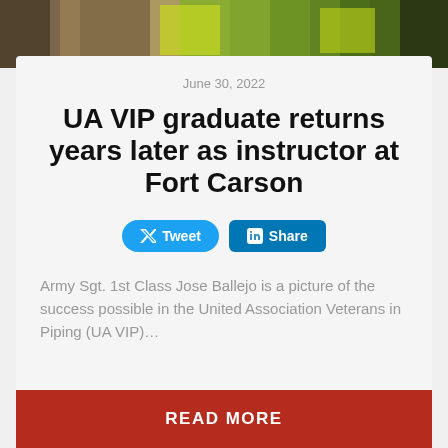[Figure (photo): Photo of people wearing yellow/green high-visibility vests, partially cropped at the top of the card]
June 30, 2022
UA VIP graduate returns years later as instructor at Fort Carson
Army Sgt. 1st Class Jose Ballejo is a picture of the success possible in the United Association Veterans in Piping (UA VIP)…
READ MORE